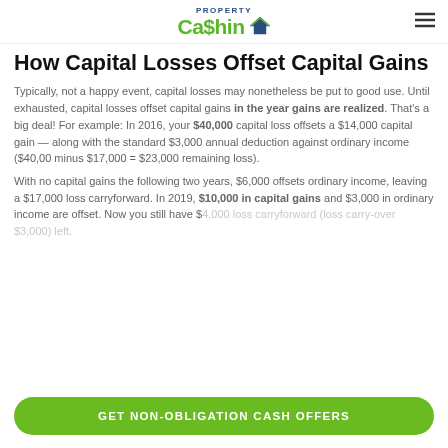PROPERTY Ca$hin
How Capital Losses Offset Capital Gains
Typically, not a happy event, capital losses may nonetheless be put to good use. Until exhausted, capital losses offset capital gains in the year gains are realized. That's a big deal! For example: In 2016, your $40,000 capital loss offsets a $14,000 capital gain — along with the standard $3,000 annual deduction against ordinary income ($40,00 minus $17,000 = $23,000 remaining loss).
With no capital gains the following two years, $6,000 offsets ordinary income, leaving a $17,000 loss carryforward. In 2019, $10,000 in capital gains and $3,000 in ordinary income are offset. Now you still have $4,000 loss carryforward (loss carry-over $3,000) left.
GET NON-OBLIGATION CASH OFFERS